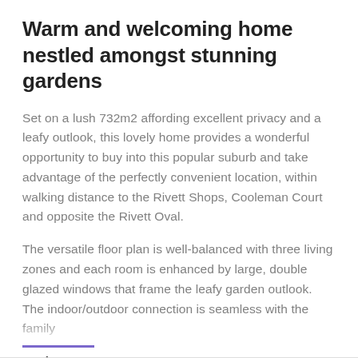Warm and welcoming home nestled amongst stunning gardens
Set on a lush 732m2 affording excellent privacy and a leafy outlook, this lovely home provides a wonderful opportunity to buy into this popular suburb and take advantage of the perfectly convenient location, within walking distance to the Rivett Shops, Cooleman Court and opposite the Rivett Oval.
The versatile floor plan is well-balanced with three living zones and each room is enhanced by large, double glazed windows that frame the leafy garden outlook. The indoor/outdoor connection is seamless with the family
read more